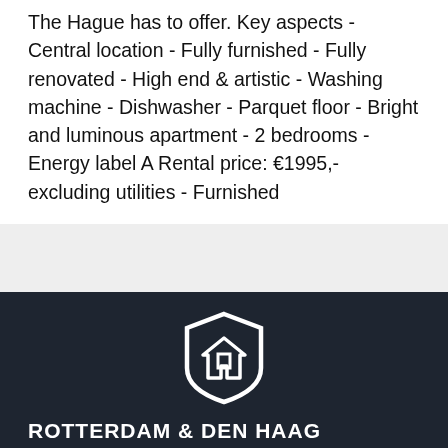The Hague has to offer. Key aspects - Central location - Fully furnished - Fully renovated - High end & artistic - Washing machine - Dishwasher - Parquet floor - Bright and luminous apartment - 2 bedrooms - Energy label A Rental price: €1995,- excluding utilities - Furnished
[Figure (logo): The Rental Shop shield/house logo in white on dark background]
ROTTERDAM & DEN HAAG
Bilderdijkstraat 16, Den Haag
rotterdam@therentalshop.nl